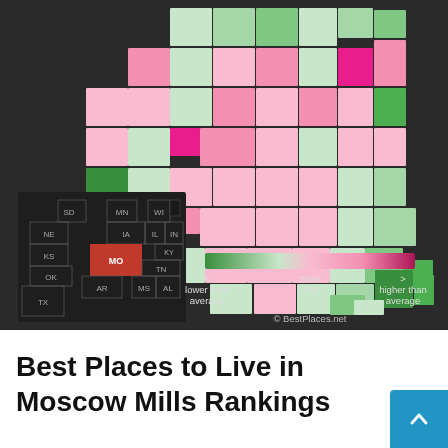[Figure (map): County-level choropleth map of Missouri showing rankings relative to state average. Counties colored on a gradient from dark green (lower than average) through light pink (near state average) to dark pink/magenta (higher than average). Includes inset locator map of central USA with Missouri highlighted in red-orange, and a color gradient legend.]
Best Places to Live in Moscow Mills Rankings